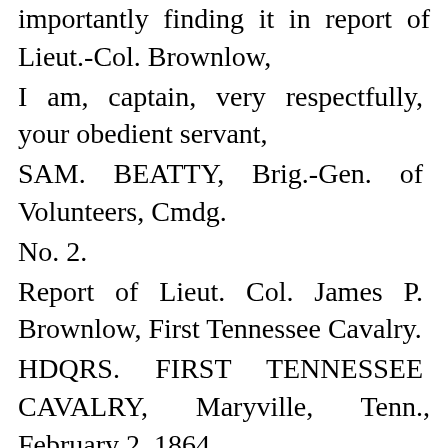importantly finding it in report of Lieut.-Col. Brownlow,
I am, captain, very respectfully, your obedient servant,
SAM. BEATTY, Brig.-Gen. of Volunteers, Cmdg.
No. 2.
Report of Lieut. Col. James P. Brownlow, First Tennessee Cavalry.
HDQRS. FIRST TENNESSEE CAVALRY, Maryville, Tenn., February 2, 1864.
CAPT.: I have the honor to submit the following report of operations of my command from January 31 to February 3, 1864: